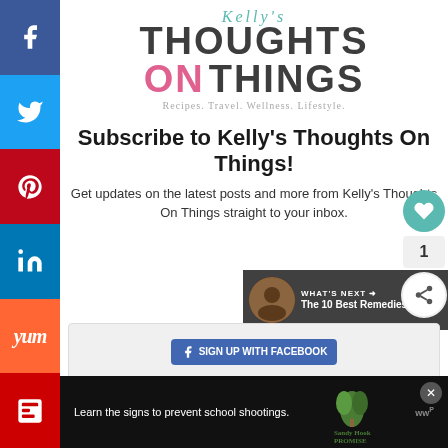[Figure (logo): Kelly's Thoughts On Things blog logo with cursive 'Kelly's' text, bold 'THOUGHTS ON THINGS' text where ON is in pink, and tagline 'Recipes. Travel. Wellness. Lifestyle.']
Subscribe to Kelly's Thoughts On Things!
Get updates on the latest posts and more from Kelly's Thoughts On Things straight to your inbox.
[Figure (screenshot): Social share sidebar with Facebook, Twitter, Pinterest, LinkedIn, Yummly, and Flipboard buttons on the left side]
[Figure (infographic): What's Next banner showing 'The 10 Best Remedies F...' with thumbnail]
[Figure (screenshot): Ad banner at bottom: 'Learn the signs to prevent school shootings.' with Sandy Hook Promise logo]